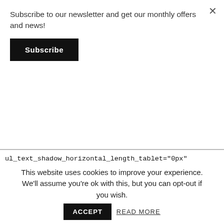Subscribe to our newsletter and get our monthly offers and news!
Subscribe
ul_text_shadow_horizontal_length_tablet="0px" ul_text_shadow_vertical_length="ul_text_shadow_style,Object%93" ul_text_shadow_vertical_length_tablet="0px" ul_text_shadow_blur_strength="ul_text_shadow_style,Object%93" ul_text_shadow_blur_strength_tablet="1px" ol_text_shadow_horizontal_length="ol_text_shadow_st
This website uses cookies to improve your experience. We'll assume you're ok with this, but you can opt-out if you wish.
ACCEPT
READ MORE